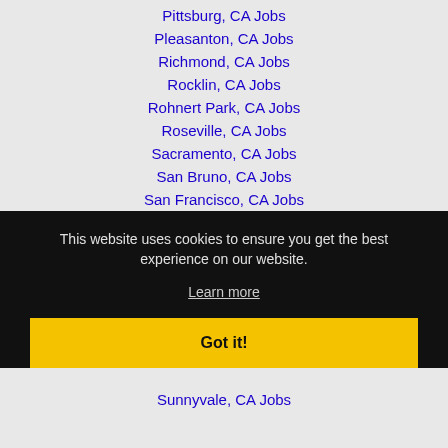Pittsburg, CA Jobs
Pleasanton, CA Jobs
Richmond, CA Jobs
Rocklin, CA Jobs
Rohnert Park, CA Jobs
Roseville, CA Jobs
Sacramento, CA Jobs
San Bruno, CA Jobs
San Francisco, CA Jobs
This website uses cookies to ensure you get the best experience on our website.
Learn more
Got it!
Sunnyvale, CA Jobs